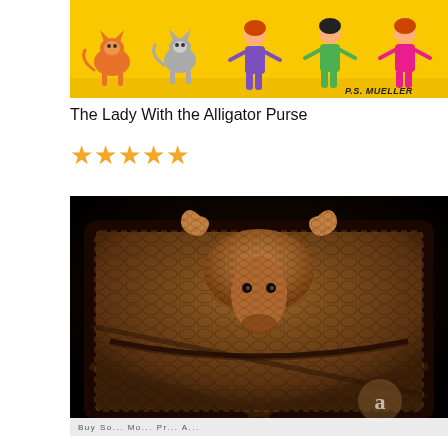[Figure (illustration): Cartoon illustration on yellow background showing colorful animated cats and human figures with text 'P.S. MUELLER' in bottom right corner]
The Lady With the Alligator Purse
⭐⭐⭐⭐⭐
[Figure (photo): Photograph of a brown alligator skin purse with an alligator head clasp on a black background, with a watermark letter 'a' in lower right area and partially visible text at the bottom]